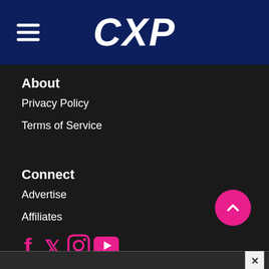CXP
About
Privacy Policy
Terms of Service
Connect
Advertise
Affiliates
[Figure (illustration): Social media icons: Facebook, Twitter, Instagram, YouTube — all in pink/magenta color]